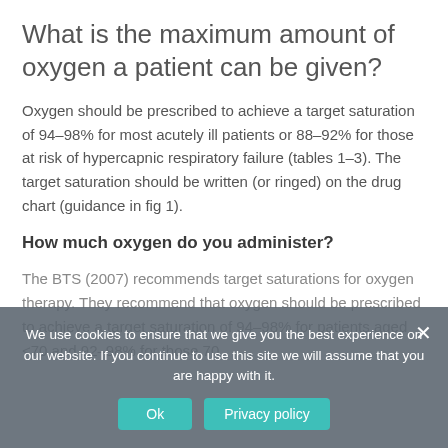What is the maximum amount of oxygen a patient can be given?
Oxygen should be prescribed to achieve a target saturation of 94–98% for most acutely ill patients or 88–92% for those at risk of hypercapnic respiratory failure (tables 1–3). The target saturation should be written (or ringed) on the drug chart (guidance in fig 1).
How much oxygen do you administer?
The BTS (2007) recommends target saturations for oxygen therapy. They recommend that oxygen should be prescribed to achieve a target saturation of 94–98% for patients aged <70 and 92–98% for those 70
We use cookies to ensure that we give you the best experience on our website. If you continue to use this site we will assume that you are happy with it.